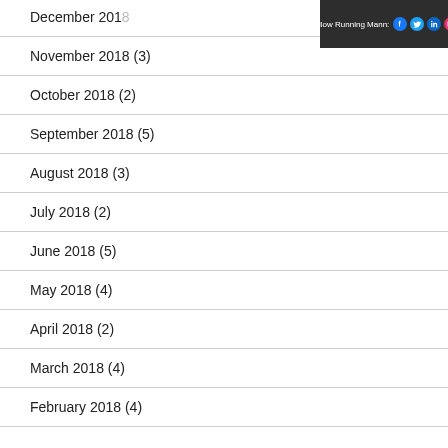Follow Running Mann: [social icons]
December 2018
November 2018 (3)
October 2018 (2)
September 2018 (5)
August 2018 (3)
July 2018 (2)
June 2018 (5)
May 2018 (4)
April 2018 (2)
March 2018 (4)
February 2018 (4)